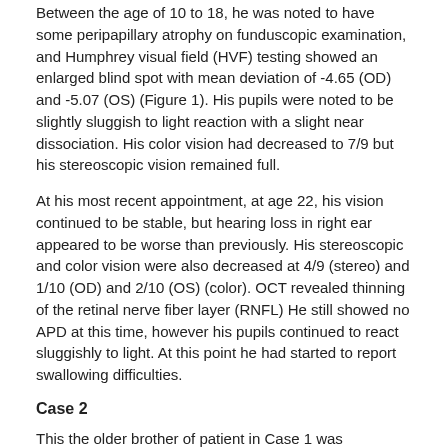Between the age of 10 to 18, he was noted to have some peripapillary atrophy on funduscopic examination, and Humphrey visual field (HVF) testing showed an enlarged blind spot with mean deviation of -4.65 (OD) and -5.07 (OS) (Figure 1). His pupils were noted to be slightly sluggish to light reaction with a slight near dissociation. His color vision had decreased to 7/9 but his stereoscopic vision remained full.
At his most recent appointment, at age 22, his vision continued to be stable, but hearing loss in right ear appeared to be worse than previously. His stereoscopic and color vision were also decreased at 4/9 (stereo) and 1/10 (OD) and 2/10 (OS) (color). OCT revealed thinning of the retinal nerve fiber layer (RNFL) He still showed no APD at this time, however his pupils continued to react sluggishly to light. At this point he had started to report swallowing difficulties.
Case 2
This the older brother of patient in Case 1 was sdiagnosed with diabetes mellitus at age 7. He was later diagnosed with diabetes insipidus and treated with DDAVP. At age 10 he failed the school eye exam and presented to neuro-ophthalmology clinic where he was found to have decreased color vision and a VA (CC) of 20/200 (OD) and <20/400 (OS). He scored 0/7 for color vision and 6/9 for stereoscopic vision. His pupils were very poorly reactive but